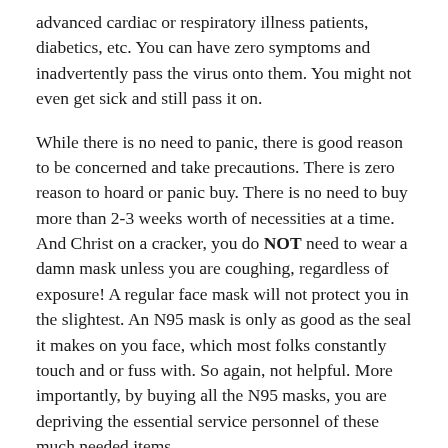advanced cardiac or respiratory illness patients, diabetics, etc. You can have zero symptoms and inadvertently pass the virus onto them. You might not even get sick and still pass it on.
While there is no need to panic, there is good reason to be concerned and take precautions. There is zero reason to hoard or panic buy. There is no need to buy more than 2-3 weeks worth of necessities at a time. And Christ on a cracker, you do NOT need to wear a damn mask unless you are coughing, regardless of exposure! A regular face mask will not protect you in the slightest. An N95 mask is only as good as the seal it makes on you face, which most folks constantly touch and or fuss with. So again, not helpful. More importantly, by buying all the N95 masks, you are depriving the essential service personnel of these much needed items.